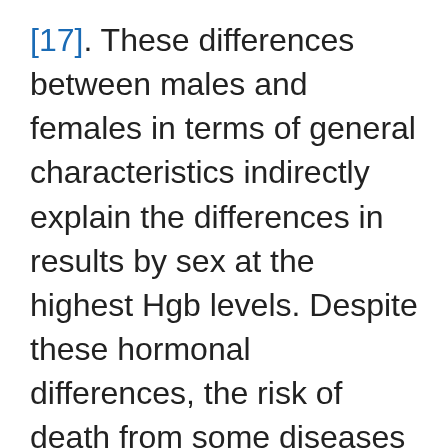[17]. These differences between males and females in terms of general characteristics indirectly explain the differences in results by sex at the highest Hgb levels. Despite these hormonal differences, the risk of death from some diseases in our results was not affected by sex-specific Hgb levels. Our data, as tri...